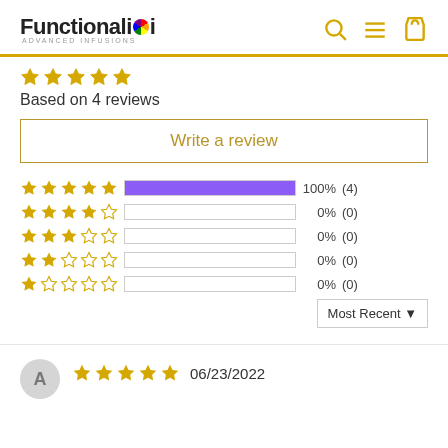[Figure (logo): FunctionaliQi Advanced Infusions logo with colorful dot]
Based on 4 reviews
Write a review
| Stars | Bar | Percent | Count |
| --- | --- | --- | --- |
| 5 stars | 100% filled | 100% | (4) |
| 4 stars | 0% filled | 0% | (0) |
| 3 stars | 0% filled | 0% | (0) |
| 2 stars | 0% filled | 0% | (0) |
| 1 star | 0% filled | 0% | (0) |
Most Recent
06/23/2022